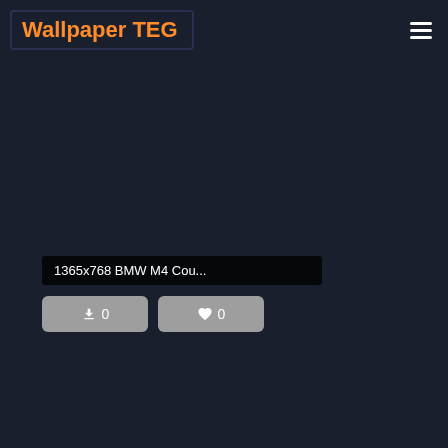Wallpaper TEG
1365x768 BMW M4 Cou...
0
0